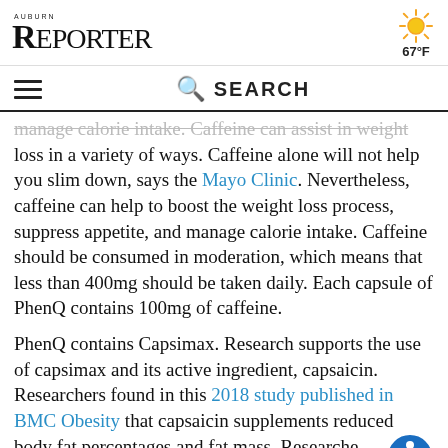Auburn Reporter — 67°F
☰  🔍 SEARCH
manage calorie intake. Caffeine can assist in weight loss in a variety of ways. Caffeine alone will not help you slim down, says the Mayo Clinic. Nevertheless, caffeine can help to boost the weight loss process, suppress appetite, and manage calorie intake. Caffeine should be consumed in moderation, which means that less than 400mg should be taken daily. Each capsule of PhenQ contains 100mg of caffeine.
PhenQ contains Capsimax. Research supports the use of capsimax and its active ingredient, capsaicin. Researchers found in this 2018 study published in BMC Obesity that capsaicin supplements reduced body fat percentages and fat mass. Researchers studied 75 subjects aged 18 to 56 for 12 weeks by